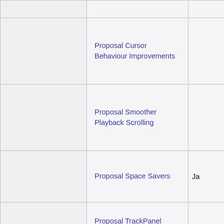| (left col) | Proposal Name | Date |
| --- | --- | --- |
|  |  |  |
|  | Proposal Cursor Behaviour Improvements |  |
|  | Proposal Smoother Playback Scrolling |  |
|  | Proposal Space Savers | Ja... |
|  | Proposal TrackPanel Evolution | Ja... |